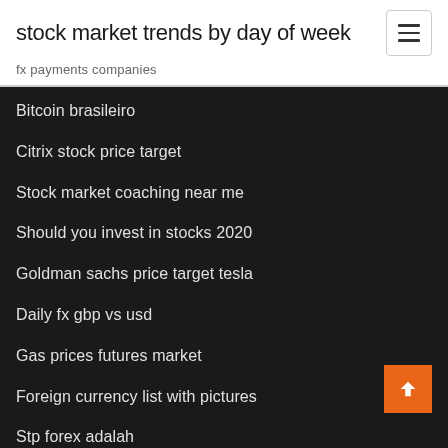stock market trends by day of week
fx payments companies
Bitcoin brasileiro
Citrix stock price target
Stock market coaching near me
Should you invest in stocks 2020
Goldman sachs price target tesla
Daily fx gbp vs usd
Gas prices futures market
Foreign currency list with pictures
Stp forex adalah
Buy stocks capital one